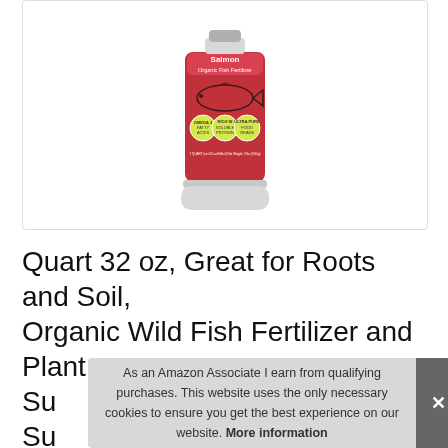[Figure (photo): Product photo of a red bottle of Salmon Organic Fish Fertilizer, 32 oz quart size, with a fish illustration on the label and three circular badges reading Omega 3 Fatty Acids, Rich in Soluble Protein, and Ultra Pure Food Grade.]
Quart 32 oz, Great for Roots and Soil, Organic Wild Fish Fertilizer and Plant Su... Su...
As an Amazon Associate I earn from qualifying purchases. This website uses the only necessary cookies to ensure you get the best experience on our website. More information